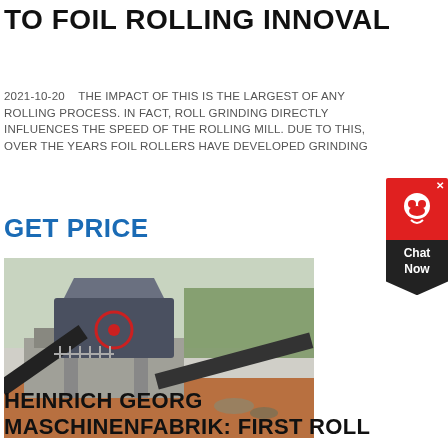TO FOIL ROLLING INNOVAL
2021-10-20    THE IMPACT OF THIS IS THE LARGEST OF ANY ROLLING PROCESS. IN FACT, ROLL GRINDING DIRECTLY INFLUENCES THE SPEED OF THE ROLLING MILL. DUE TO THIS, OVER THE YEARS FOIL ROLLERS HAVE DEVELOPED GRINDING
GET PRICE
[Figure (photo): Industrial stone crushing/rolling mill machinery outdoors with conveyor belts and red circular component visible, set on red/brown earth]
HEINRICH GEORG MASCHINENFABRIK: FIRST ROLL